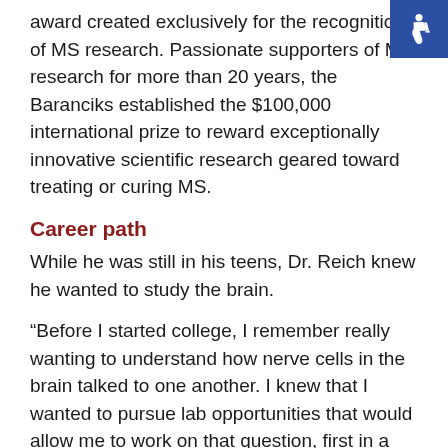award created exclusively for the recognition of MS research. Passionate supporters of MS research for more than 20 years, the Baranciks established the $100,000 international prize to reward exceptionally innovative scientific research geared toward treating or curing MS.
Career path
While he was still in his teens, Dr. Reich knew he wanted to study the brain.
“Before I started college, I remember really wanting to understand how nerve cells in the brain talked to one another. I knew that I wanted to pursue lab opportunities that would allow me to work on that question, first in a computational way, and eventually in an experimental way,” he says.
Inspired in part by his father, a psychiatrist who also